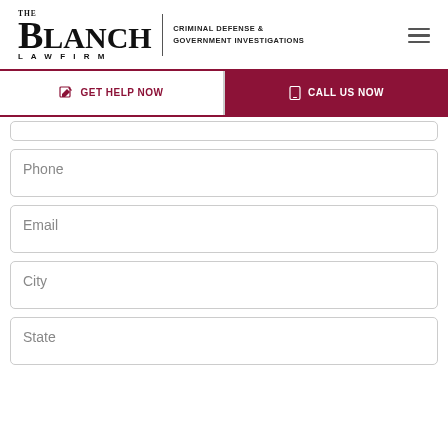[Figure (logo): The Blanch Law Firm logo with tagline 'Criminal Defense & Government Investigations']
GET HELP NOW
CALL US NOW
Phone
Email
City
State